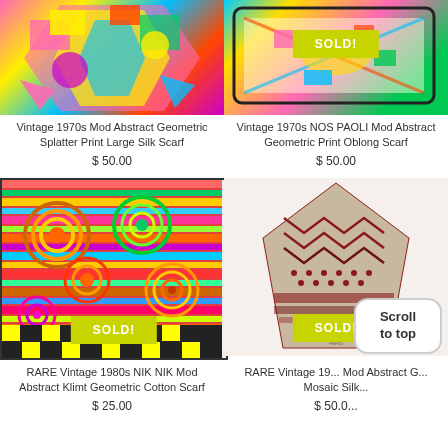[Figure (photo): Vintage 1970s colorful mod abstract geometric splatter print large silk scarf, folded/crumpled, with bright pink, yellow, and blue colors]
Vintage 1970s Mod Abstract Geometric Splatter Print Large Silk Scarf
$ 50.00
[Figure (photo): Vintage 1970s NOS PAOLI mod abstract geometric print oblong scarf with bright multicolor pattern, with yellow-green SOLD! badge overlay]
Vintage 1970s NOS PAOLI Mod Abstract Geometric Print Oblong Scarf
$ 50.00
[Figure (photo): RARE Vintage 1980s NIK NIK Mod Abstract Klimt Geometric Cotton Scarf - colorful with circles, squares and abstract patterns, with yellow-green SOLD! badge]
RARE Vintage 1980s NIK NIK Mod Abstract Klimt Geometric Cotton Scarf
$ 25.00
[Figure (photo): RARE Vintage 1980s Lanvin Mod Abstract Geometric Mosaic Silk scarf in brown/burgundy and cream with geometric patterns, with yellow-green SOLD! badge and Scroll to top button]
RARE Vintage 19... Mod Abstract G... Mosaic Silk...
$ 50.0...